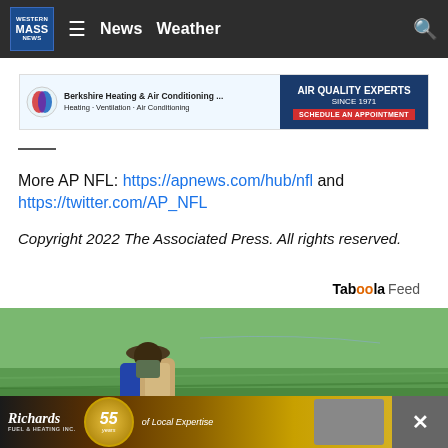Western Mass News — News   Weather
[Figure (screenshot): Berkshire Heating & Air Conditioning advertisement banner — AIR QUALITY EXPERTS SINCE 1971 — SCHEDULE AN APPOINTMENT]
More AP NFL: https://apnews.com/hub/nfl and https://twitter.com/AP_NFL
Copyright 2022 The Associated Press. All rights reserved.
Taboola Feed
[Figure (photo): Person wearing wide-brimmed hat and face covering, carrying agricultural sprayer equipment on their back in a green field]
[Figure (screenshot): Richard's Fuel & Heating Inc. advertisement — 55 years of Local Expertise — with close button]